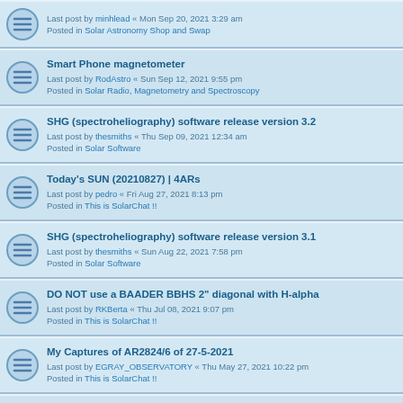Smart Phone magnetometer
Last post by RodAstro « Sun Sep 12, 2021 9:55 pm
Posted in Solar Radio, Magnetometry and Spectroscopy
SHG (spectroheliography) software release version 3.2
Last post by thesmiths « Thu Sep 09, 2021 12:34 am
Posted in Solar Software
Today's SUN (20210827) | 4ARs
Last post by pedro « Fri Aug 27, 2021 8:13 pm
Posted in This is SolarChat !!
SHG (spectroheliography) software release version 3.1
Last post by thesmiths « Sun Aug 22, 2021 7:58 pm
Posted in Solar Software
DO NOT use a BAADER BBHS 2" diagonal with H-alpha
Last post by RKBerta « Thu Jul 08, 2021 9:07 pm
Posted in This is SolarChat !!
My Captures of AR2824/6 of 27-5-2021
Last post by EGRAY_OBSERVATORY « Thu May 27, 2021 10:22 pm
Posted in This is SolarChat !!
Sun FD in H-Alpha 27th of May 2021
Last post by arnedanielsen « Thu May 27, 2021 7:38 pm
Posted in This is SolarChat !!
Transmission graph for a Daystar Quark
Last post by AndiesHandyHandies « Thu May 13, 2021 11:21 am
Posted in Solar Scope Modifications